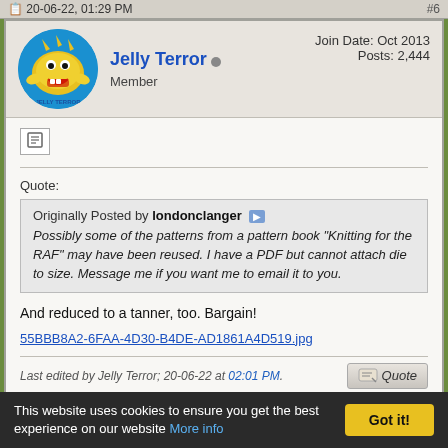20-06-22, 01:29 PM  #6
Join Date: Oct 2013
Posts: 2,444
Jelly Terror  Member
[Figure (illustration): Circular avatar with cartoon yellow creature labeled JELLY TERROR on blue background]
Quote:
Originally Posted by londonclanger
Possibly some of the patterns from a pattern book "Knitting for the RAF" may have been reused. I have a PDF but cannot attach die to size. Message me if you want me to email it to you.
And reduced to a tanner, too. Bargain!
55BBB8A2-6FAA-4D30-B4DE-AD1861A4D519.jpg
Last edited by Jelly Terror; 20-06-22 at 02:01 PM.
20-06-22, 02:58 PM  #7
This website uses cookies to ensure you get the best experience on our website More info